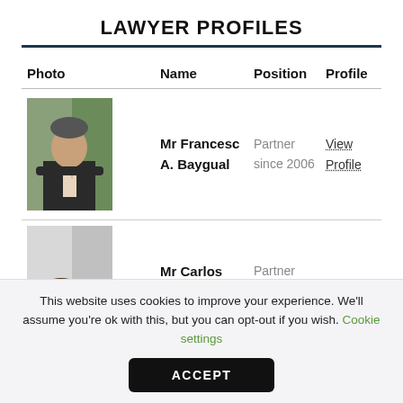LAWYER PROFILES
| Photo | Name | Position | Profile |
| --- | --- | --- | --- |
| [photo of Mr Francesc A. Baygual] | Mr Francesc A. Baygual | Partner since 2006 | View Profile |
| [photo of Mr Carlos] | Mr Carlos | Partner |  |
This website uses cookies to improve your experience. We'll assume you're ok with this, but you can opt-out if you wish. Cookie settings
ACCEPT